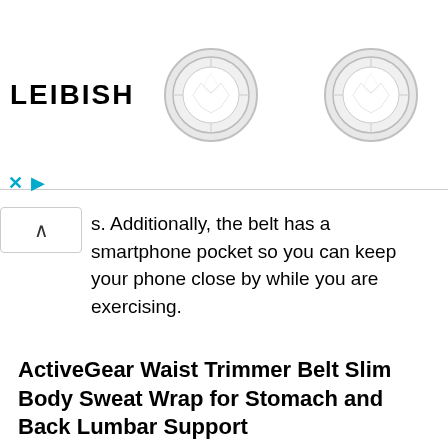[Figure (photo): Leibish jewelry advertisement banner showing the LEIBISH logo on the left and two round diamond stud earrings on the right against a white background]
s. Additionally, the belt has a smartphone pocket so you can keep your phone close by while you are exercising.
ActiveGear Waist Trimmer Belt Slim Body Sweat Wrap for Stomach and Back Lumbar Support
[Figure (photo): Woman wearing a pink striped sports top with a waist trimmer belt visible]
This site uses cookies to store information on your computer. Some are essential to make our site work; others help us improve the user experience. By using the site, you consent to the placement of these cookies.
Agree & Dismiss